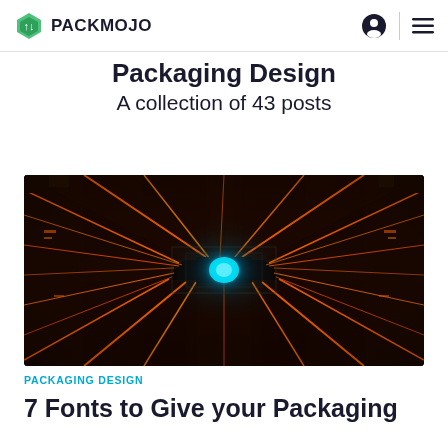PACKMOJO
Packaging Design
A collection of 43 posts
[Figure (photo): Dark sci-fi corridor with neon orange glowing lines converging toward a bright cyan light in the center, creating a dramatic perspective tunnel effect]
PACKAGING DESIGN
7 Fonts to Give your Packaging